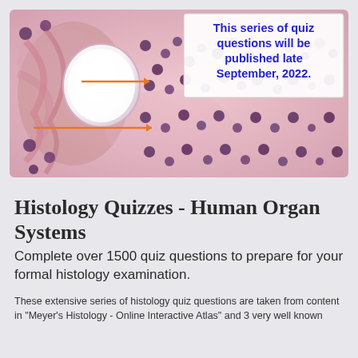[Figure (photo): Histology microscope slide image showing tissue with cells, a large white circular structure (likely a vessel or gland), orange arrows pointing to specific cells/structures, and an overlay text box in the upper right corner reading 'This series of quiz questions will be published late September, 2022.' in bold blue text on white background.]
Histology Quizzes - Human Organ Systems
Complete over 1500 quiz questions to prepare for your formal histology examination.
These extensive series of histology quiz questions are taken from content in "Meyer's Histology - Online Interactive Atlas" and 3 very well known